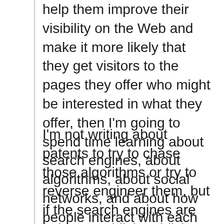help them improve their visibility on the Web and make it more likely that they get visitors to the pages they offer who might be interested in what they offer, then I'm going to spend time learning about search engines, about algorithms, about social networks, and about how people interact with each other in many different mediums.
I'm not writing about patents to try to chase those algorithms or try to reverse engineer them, but if the search engines are going to publish publicly accessible documents such as patents, white papers, presentations, and more, it's my